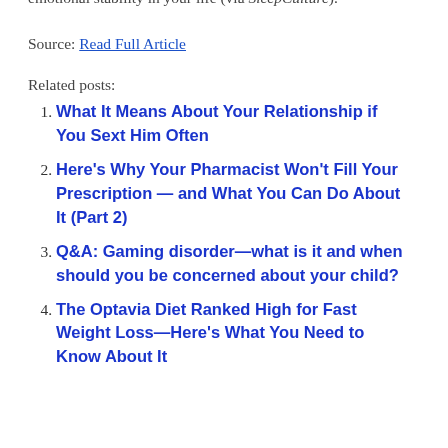report to — the dream might mean you're experiencing emotional stability in your life (via SleepCulture).
Source: Read Full Article
Related posts:
What It Means About Your Relationship if You Sext Him Often
Here's Why Your Pharmacist Won't Fill Your Prescription — and What You Can Do About It (Part 2)
Q&A: Gaming disorder—what is it and when should you be concerned about your child?
The Optavia Diet Ranked High for Fast Weight Loss—Here's What You Need to Know About It